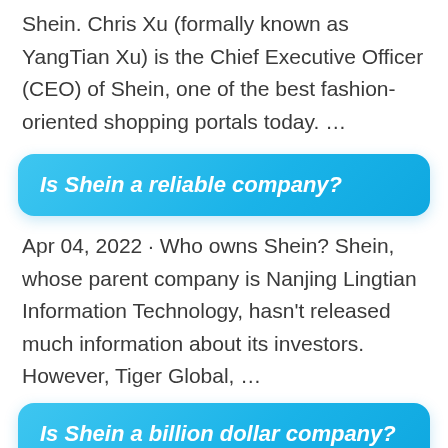Shein. Chris Xu (formally known as YangTian Xu) is the Chief Executive Officer (CEO) of Shein, one of the best fashion-oriented shopping portals today. …
Is Shein a reliable company?
Apr 04, 2022 · Who owns Shein? Shein, whose parent company is Nanjing Lingtian Information Technology, hasn't released much information about its investors. However, Tiger Global, …
Is Shein a billion dollar company?